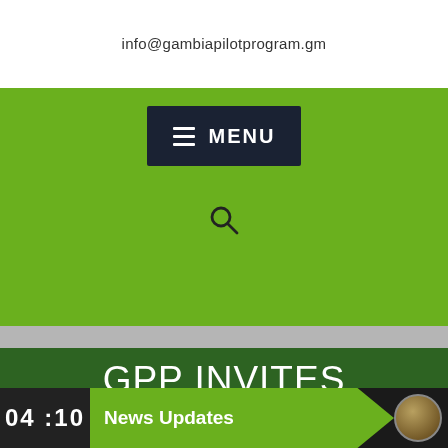info@gambiapilotprogram.gm
[Figure (screenshot): Green navigation bar with dark navy MENU button containing three horizontal lines icon and MENU text, and a search magnifying glass icon below]
GPP INVITES PRIVATE ENTERPRISES TO APPLY FOR
04 : 10   News Updates